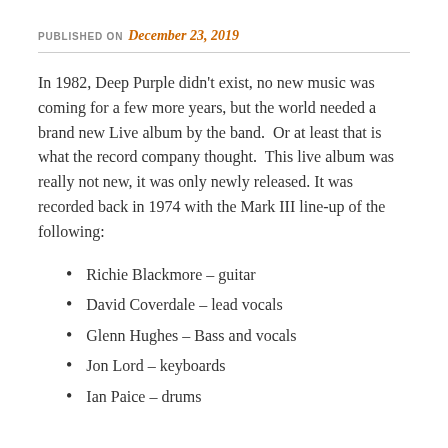PUBLISHED ON December 23, 2019
In 1982, Deep Purple didn't exist, no new music was coming for a few more years, but the world needed a brand new Live album by the band.  Or at least that is what the record company thought.  This live album was really not new, it was only newly released. It was recorded back in 1974 with the Mark III line-up of the following:
Richie Blackmore – guitar
David Coverdale – lead vocals
Glenn Hughes – Bass and vocals
Jon Lord – keyboards
Ian Paice – drums